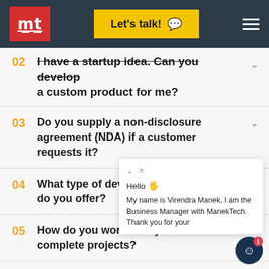mt | Let's talk! | Navigation menu
02 I have a startup idea. Can you develop a custom product for me?
03 Do you supply a non-disclosure agreement (NDA) if a customer requests it?
04 What type of developer hiring models do you offer?
05 How do you work with your clients to complete projects?
06 What happens if I'm not happy with the
Hello 👋 My name is Virendra Manek, I am the Business Manager with ManekTech. Thank you for your